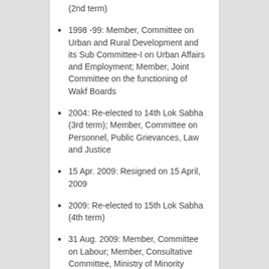(2nd term)
1998 -99: Member, Committee on Urban and Rural Development and its Sub Committee-I on Urban Affairs and Employment; Member, Joint Committee on the functioning of Wakf Boards
2004: Re-elected to 14th Lok Sabha (3rd term); Member, Committee on Personnel, Public Grievances, Law and Justice
15 Apr. 2009: Resigned on 15 April, 2009
2009: Re-elected to 15th Lok Sabha (4th term)
31 Aug. 2009: Member, Committee on Labour; Member, Consultative Committee, Ministry of Minority Affairs and Corporate Affairs
May, 2019: Re-elected to 17th Lok Sabha (5th term)